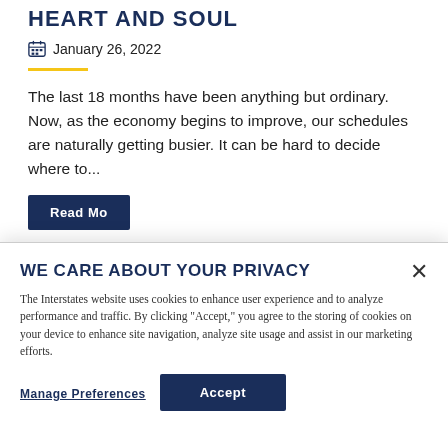HEART AND SOUL
January 26, 2022
The last 18 months have been anything but ordinary. Now, as the economy begins to improve, our schedules are naturally getting busier. It can be hard to decide where to...
WE CARE ABOUT YOUR PRIVACY
The Interstates website uses cookies to enhance user experience and to analyze performance and traffic. By clicking "Accept," you agree to the storing of cookies on your device to enhance site navigation, analyze site usage and assist in our marketing efforts.
Manage Preferences
Accept